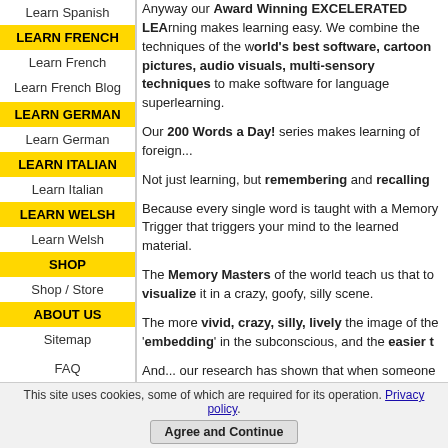Learn Spanish
LEARN FRENCH
Learn French
Learn French Blog
LEARN GERMAN
Learn German
LEARN ITALIAN
Learn Italian
LEARN WELSH
Learn Welsh
SHOP
Shop / Store
ABOUT US
Sitemap
FAQ
Testimonials
Tutorial
Contact Us
Anyway our Award Winning EXCELERATED LEARNING makes learning easy. We combine the techniques of the world's best software, cartoon pictures, audio visuals, multi-sensory techniques to make software for language superlearning.
Our 200 Words a Day! series makes learning of foreign...
Not just learning, but remembering and recalling
Because every single word is taught with a Memory Trigger that triggers your mind to the learned material.
The Memory Masters of the world teach us that to visualize it in a crazy, goofy, silly scene.
The more vivid, crazy, silly, lively the image of the 'embedding' in the subconscious, and the easier t
And... our research has shown that when someone visualization, the learning and the recall of the Mem
Especially if it is combined with audio, text and other body's senses as possible.
And each Memory Trigger in the 200 Words a Day
This site uses cookies, some of which are required for its operation. Privacy policy.